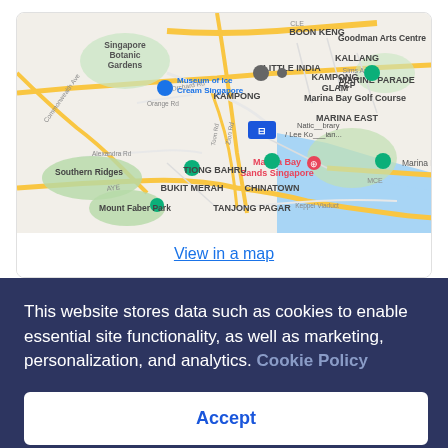[Figure (map): Google Maps screenshot showing central Singapore area including Botanic Gardens, Little India, Kampong Glam, Marina Bay Sands, Chinatown, Tiong Bahru, Bukit Merah, and surrounding districts. A blue hotel marker is visible near the National Library / Lee Kong Chian area.]
View in a map
This website stores data such as cookies to enable essential site functionality, as well as marketing, personalization, and analytics. Cookie Policy
Accept
Deny